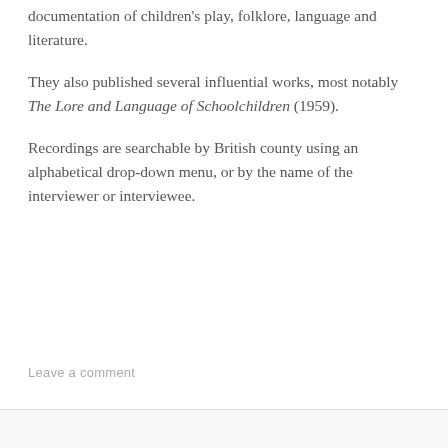documentation of children's play, folklore, language and literature.
They also published several influential works, most notably The Lore and Language of Schoolchildren (1959).
Recordings are searchable by British county using an alphabetical drop-down menu, or by the name of the interviewer or interviewee.
Leave a comment